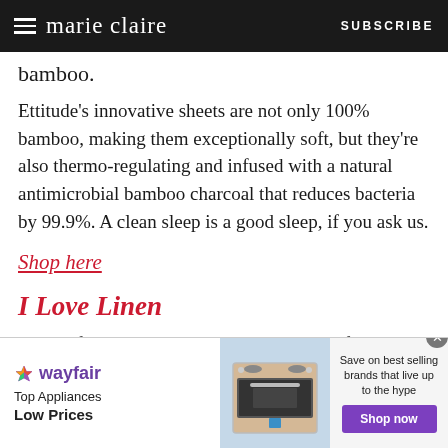marie claire | SUBSCRIBE
bamboo.
Ettitude's innovative sheets are not only 100% bamboo, making them exceptionally soft, but they're also thermo-regulating and infused with a natural antimicrobial bamboo charcoal that reduces bacteria by 99.9%. A clean sleep is a good sleep, if you ask us.
Shop here
I Love Linen
To satisfy your cottagecore needs, look no further than Burleigh Heads-based brand I Love Linen. Their colour range is simply stunning but we're bi
[Figure (advertisement): Wayfair advertisement banner with appliance image, 'Top Appliances Low Prices' text, and 'Shop now' button]